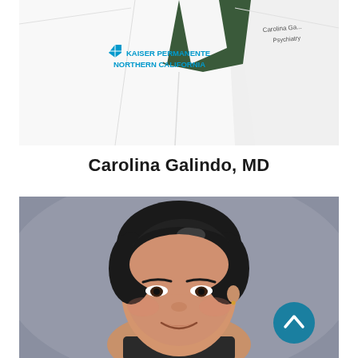[Figure (photo): Doctor in white Kaiser Permanente Northern California lab coat, partial view showing torso and embroidered logo. Right side shows partial name badge reading 'Carolina G... Psychiatry'.]
Carolina Galindo, MD
[Figure (photo): Headshot of a smiling Asian woman with short dark hair against a grey studio background, professional medical portrait.]